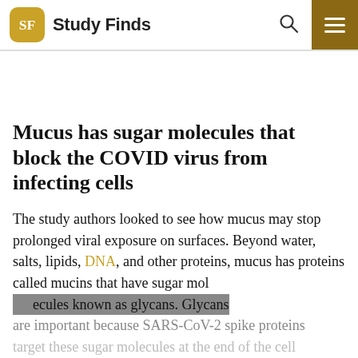Study Finds
Mucus has sugar molecules that block the COVID virus from infecting cells
The study authors looked to see how mucus may stop prolonged viral exposure on surfaces. Beyond water, salts, lipids, DNA, and other proteins, mucus has proteins called mucins that have sugar molecules known as glycans. Glycans are important because SARS-CoV-2 spike proteins target these sugar molecules at the end of the cell